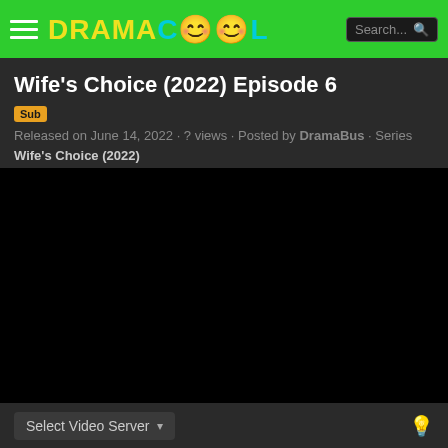DRAMACOOL — navigation header with search
Wife's Choice (2022) Episode 6
Sub  Released on June 14, 2022 · ? views · Posted by DramaBus · Series Wife's Choice (2022)
[Figure (screenshot): Black video player area (video not loaded)]
Select Video Server ▾